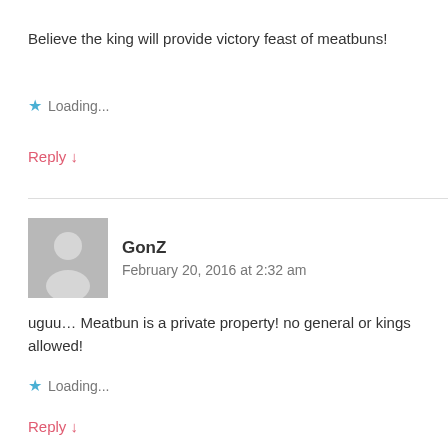Believe the king will provide victory feast of meatbuns!
Loading...
Reply ↓
GonZ
February 20, 2016 at 2:32 am
uguu… Meatbun is a private property! no general or kings allowed!
Loading...
Reply ↓